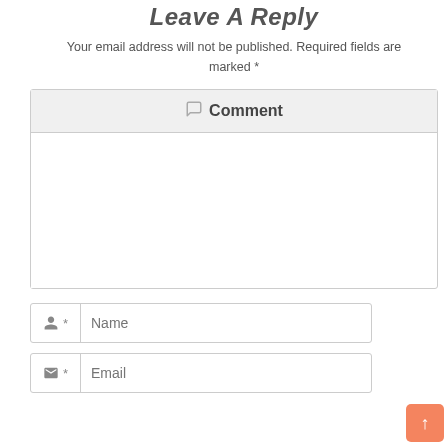Leave A Reply
Your email address will not be published. Required fields are marked *
[Figure (screenshot): Comment form with text area, name input field with person icon, and email input field with envelope icon]
[Figure (other): Orange scroll-to-top button with up arrow in bottom right corner]